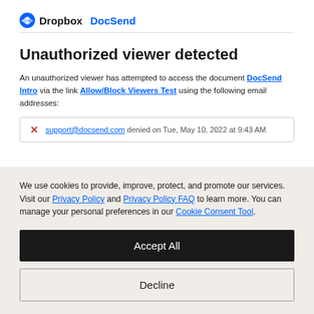[Figure (logo): Dropbox DocSend logo with blue circle icon]
Unauthorized viewer detected
An unauthorized viewer has attempted to access the document DocSend Intro via the link Allow/Block Viewers Test using the following email addresses:
support@docsend.com denied on Tue, May 10, 2022 at 9:43 AM
We use cookies to provide, improve, protect, and promote our services. Visit our Privacy Policy and Privacy Policy FAQ to learn more. You can manage your personal preferences in our Cookie Consent Tool.
Accept All
Decline